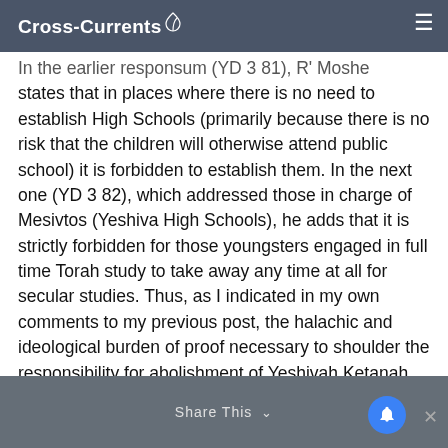Cross-Currents
In the earlier responsum (YD 3 81), R' Moshe states that in places where there is no need to establish High Schools (primarily because there is no risk that the children will otherwise attend public school) it is forbidden to establish them. In the next one (YD 3 82), which addressed those in charge of Mesivtos (Yeshiva High Schools), he adds that it is strictly forbidden for those youngsters engaged in full time Torah study to take away any time at all for secular studies. Thus, as I indicated in my own comments to my previous post, the halachic and ideological burden of proof necessary to shoulder the responsibility for abolishment of Yeshivah Ketanah, almost as an eis laasos ("an abandonment of Torah for the sake of its preservation") rests extraordinarily heavily on those who seek to do so.
Share This